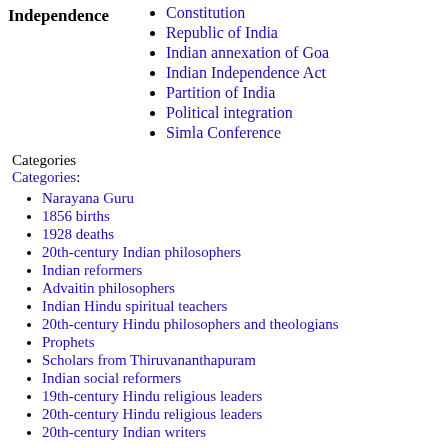Constitution
Republic of India
Indian annexation of Goa
Indian Independence Act
Partition of India
Political integration
Simla Conference
Categories
Categories:
Narayana Guru
1856 births
1928 deaths
20th-century Indian philosophers
Indian reformers
Advaitin philosophers
Indian Hindu spiritual teachers
20th-century Hindu philosophers and theologians
Prophets
Scholars from Thiruvananthapuram
Indian social reformers
19th-century Hindu religious leaders
20th-century Hindu religious leaders
20th-century Indian writers